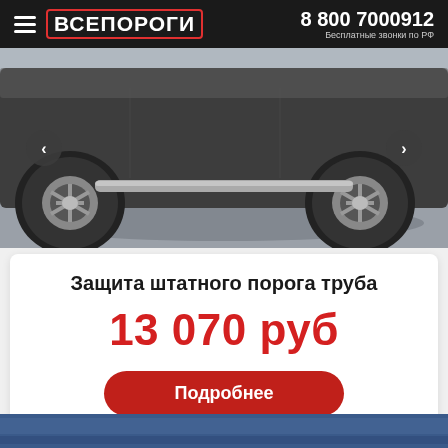ВСЕПОРОГИ | 8 800 7000912 | Бесплатные звонки по РФ
[Figure (photo): Photo of SUV side step/door sill protection tube on a dark-colored SUV, close-up of wheel and side running board]
Защита штатного порога труба
13 070 руб
Подробнее